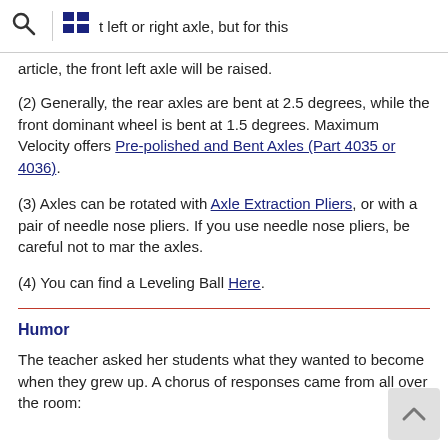t left or right axle, but for this article, the front left axle will be raised.
(2) Generally, the rear axles are bent at 2.5 degrees, while the front dominant wheel is bent at 1.5 degrees. Maximum Velocity offers Pre-polished and Bent Axles (Part 4035 or 4036).
(3) Axles can be rotated with Axle Extraction Pliers, or with a pair of needle nose pliers. If you use needle nose pliers, be careful not to mar the axles.
(4) You can find a Leveling Ball Here.
Humor
The teacher asked her students what they wanted to become when they grew up. A chorus of responses came from all over the room: